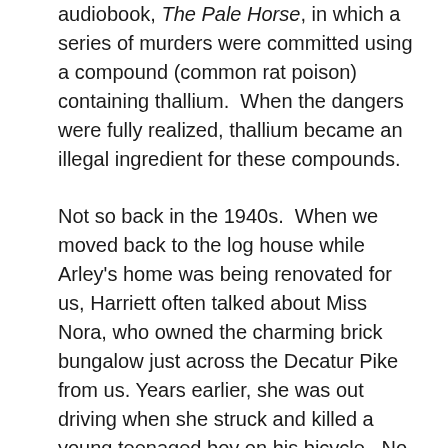audiobook, The Pale Horse, in which a series of murders were committed using a compound (common rat poison) containing thallium.  When the dangers were fully realized, thallium became an illegal ingredient for these compounds.
Not so back in the 1940s.  When we moved back to the log house while Arley's home was being renovated for us, Harriett often talked about Miss Nora, who owned the charming brick bungalow just across the Decatur Pike from us. Years earlier, she was out driving when she struck and killed a young teenaged boy on his bicycle.  No charges were filed, but rumor had it that she might have been intoxicated.
She had moved out of state to Arkansas after the accident, where she married a wealthy retired judge.  After a year or so, he suddenly became ill and died.  Reportedly Miss Nora inherited a small fortune, much to his adult